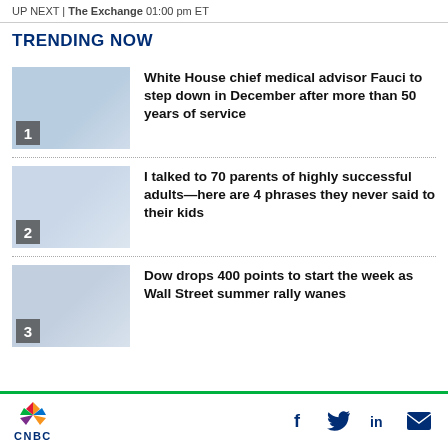UP NEXT | The Exchange 01:00 pm ET
TRENDING NOW
White House chief medical advisor Fauci to step down in December after more than 50 years of service
I talked to 70 parents of highly successful adults—here are 4 phrases they never said to their kids
Dow drops 400 points to start the week as Wall Street summer rally wanes
CNBC — Facebook, Twitter, LinkedIn, Email